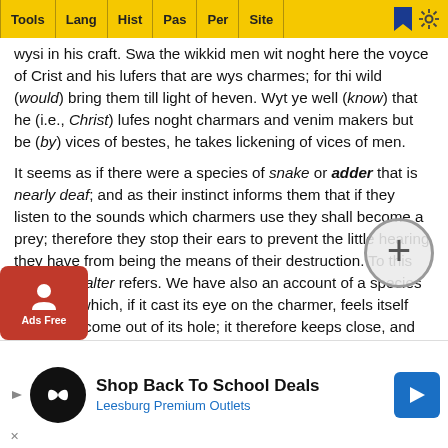Tools | Lang | Hist | Pas | Per | Site
wysi in his craft. Swa the wikkid men wit noght here the voyce of Crist and his lufers that are wys charmes; for thi wild (would) bring them till light of heven. Wyt ye well (know) that he (i.e., Christ) lufes noght charmars and venim makers but be (by) vices of bestes, he takes lickening of vices of men.
It seems as if there were a species of snake or adder that is nearly deaf; and as their instinct informs them that if they listen to the sounds which charmers use they shall become a prey; therefore they stop their ears to prevent the little hearing they have from being the means of their destruction. To this the Old Psalter refers. We have also an account of a species of snake, which, if it cast its eye on the charmer, feels itself obliged to come out of its hole; it therefore keeps close, and takes care neither to see nor be seen. To this also the Old Psalter alludes; and of this fact, if it be one, he makes a good use.